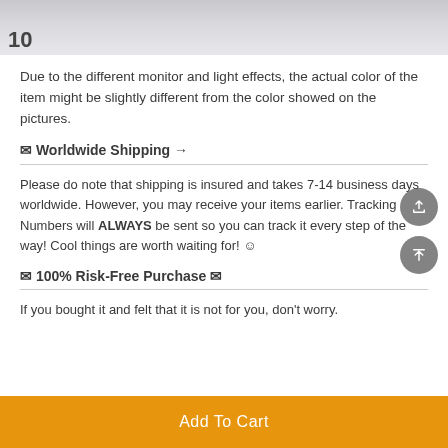[Figure (photo): Partial product photo strip at top, showing fabric/item with a number '10' partially visible on the left side.]
Due to the different monitor and light effects, the actual color of the item might be slightly different from the color showed on the pictures.
✉ Worldwide Shipping ✈
Please do note that shipping is insured and takes 7-14 business days worldwide. However, you may receive your items earlier. Tracking Numbers will ALWAYS be sent so you can track it every step of the way! Cool things are worth waiting for! ☺
✉ 100% Risk-Free Purchase ✉
If you bought it and felt that it is not for you, don't worry.